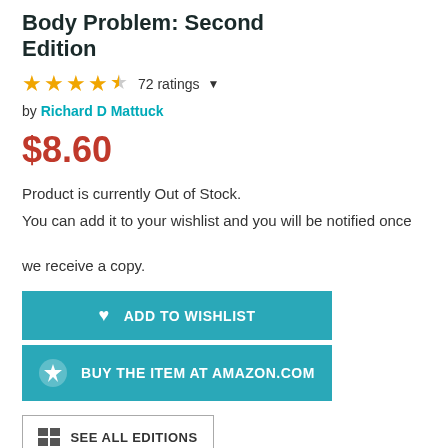Body Problem: Second Edition
72 ratings
by Richard D Mattuck
$8.60
Product is currently Out of Stock.
You can add it to your wishlist and you will be notified once we receive a copy.
ADD TO WISHLIST
BUY THE ITEM AT AMAZON.COM
SEE ALL EDITIONS